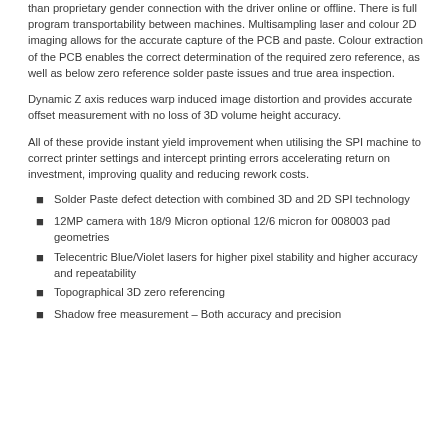than proprietary gender connection with the driver online or offline. There is full program transportability between machines. Multisampling laser and colour 2D imaging allows for the accurate capture of the PCB and paste. Colour extraction of the PCB enables the correct determination of the required zero reference, as well as below zero reference solder paste issues and true area inspection.
Dynamic Z axis reduces warp induced image distortion and provides accurate offset measurement with no loss of 3D volume height accuracy.
All of these provide instant yield improvement when utilising the SPI machine to correct printer settings and intercept printing errors accelerating return on investment, improving quality and reducing rework costs.
Solder Paste defect detection with combined 3D and 2D SPI technology
12MP camera with 18/9 Micron optional 12/6 micron for 008003 pad geometries
Telecentric Blue/Violet lasers for higher pixel stability and higher accuracy and repeatability
Topographical 3D zero referencing
Shadow free measurement – Both accuracy and precision